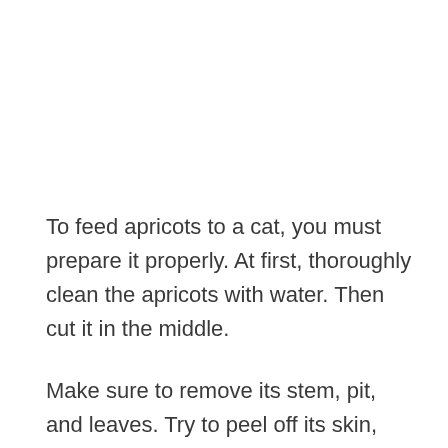To feed apricots to a cat, you must prepare it properly. At first, thoroughly clean the apricots with water. Then cut it in the middle.
Make sure to remove its stem, pit, and leaves. Try to peel off its skin, and cut the fruit into small slices (don't make the slices too small).